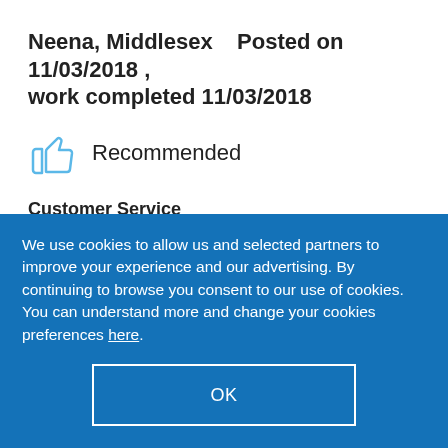Neena, Middlesex    Posted on 11/03/2018 , work completed 11/03/2018
Recommended
Customer Service
★★★★★
Quality
★★★★★
We use cookies to allow us and selected partners to improve your experience and our advertising. By continuing to browse you consent to our use of cookies. You can understand more and change your cookies preferences here.
OK